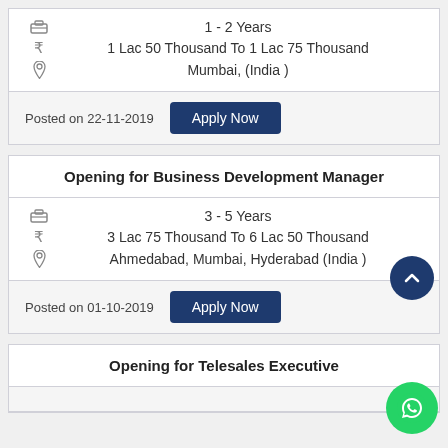1 - 2 Years
1 Lac 50 Thousand To 1 Lac 75 Thousand
Mumbai, (India )
Posted on 22-11-2019
Opening for Business Development Manager
3 - 5 Years
3 Lac 75 Thousand To 6 Lac 50 Thousand
Ahmedabad, Mumbai, Hyderabad (India )
Posted on 01-10-2019
Opening for Telesales Executive